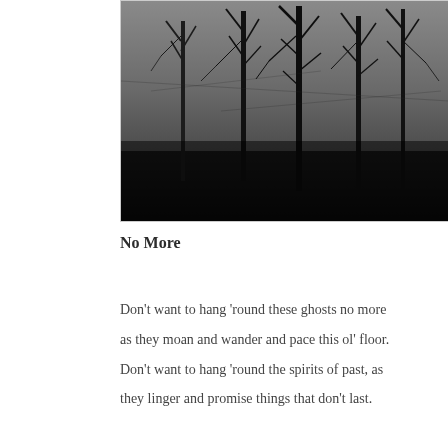[Figure (photo): Black and white photograph of bare winter trees with dark skeletal branches against a grey overcast sky, moody and atmospheric forest scene]
No More
Don't want to hang 'round these ghosts no more
as they moan and wander and pace this ol' floor.
Don't want to hang 'round the spirits of past, as
they linger and promise things that don't last.